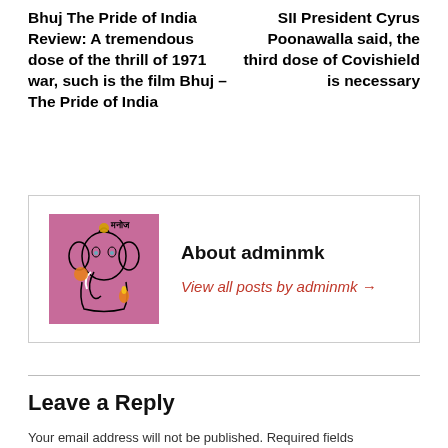Bhuj The Pride of India Review: A tremendous dose of the thrill of 1971 war, such is the film Bhuj – The Pride of India
SII President Cyrus Poonawalla said, the third dose of Covishield is necessary
[Figure (illustration): Pink background illustration of Lord Ganesha in a stylized line-art form with the Hindi text 'मनोज' at the top right. Features orange and yellow decorative elements.]
About adminmk
View all posts by adminmk →
Leave a Reply
Your email address will not be published. Required fields